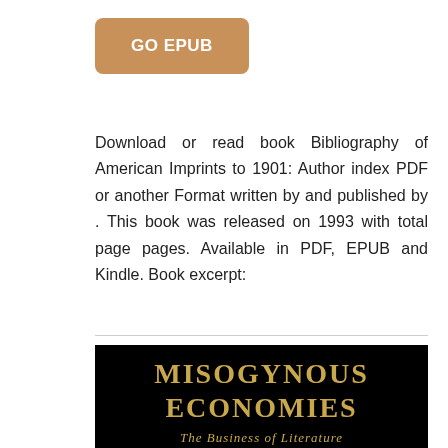[Figure (other): Orange/tan rounded rectangle button labeled GO EPUB in bold white text]
Download or read book Bibliography of American Imprints to 1901: Author index PDF or another Format written by and published by . This book was released on 1993 with total page pages. Available in PDF, EPUB and Kindle. Book excerpt:
[Figure (illustration): Book cover with black background showing gold text: MISOGYNOUS ECONOMIES on two lines, and subtitle The Business of Literature in italic gold serif font]